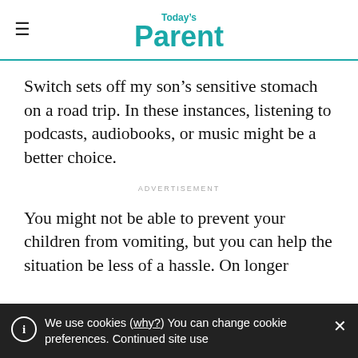Today's Parent
Switch sets off my son’s sensitive stomach on a road trip. In these instances, listening to podcasts, audiobooks, or music might be a better choice.
ADVERTISEMENT
You might not be able to prevent your children from vomiting, but you can help the situation be less of a hassle. On longer
We use cookies (why?) You can change cookie preferences. Continued site use